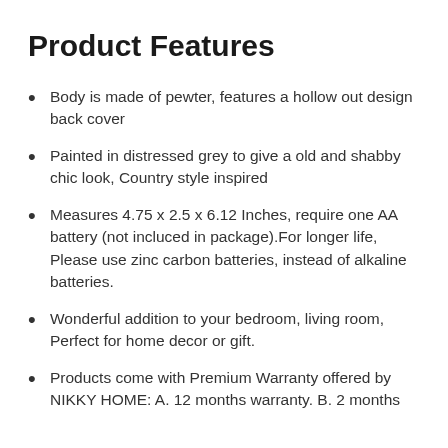Product Features
Body is made of pewter, features a hollow out design back cover
Painted in distressed grey to give a old and shabby chic look, Country style inspired
Measures 4.75 x 2.5 x 6.12 Inches, require one AA battery (not incluced in package).For longer life, Please use zinc carbon batteries, instead of alkaline batteries.
Wonderful addition to your bedroom, living room, Perfect for home decor or gift.
Products come with Premium Warranty offered by NIKKY HOME: A. 12 months warranty. B. 2 months